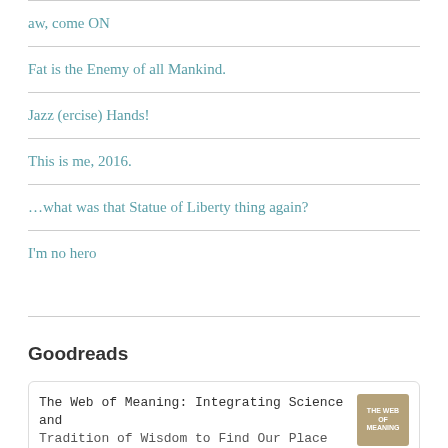aw, come ON
Fat is the Enemy of all Mankind.
Jazz (ercise) Hands!
This is me, 2016.
...what was that Statue of Liberty thing again?
I'm no hero
Goodreads
The Web of Meaning: Integrating Science and Tradition of Wisdom to Find Our Place in...